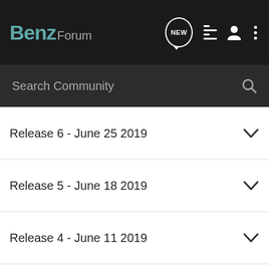BenzForum
Search Community
Release 6 - June 25 2019
Release 5 - June 18 2019
Release 4 - June 11 2019
Release 3 - June 4 2019
Release 2 - May 28 2019
Release 1 - May 16 2019